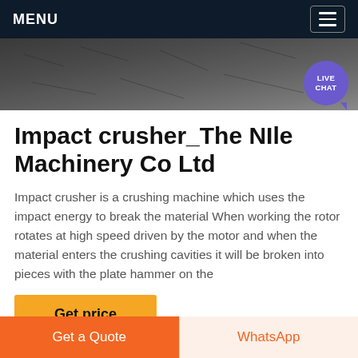MENU
[Figure (photo): Dark textured surface (gravel/stone) hero image with a purple 'LIVE CHAT' speech bubble icon in the bottom right corner]
Impact crusher_The NIle Machinery Co Ltd
Impact crusher is a crushing machine which uses the impact energy to break the material When working the rotor rotates at high speed driven by the motor and when the material enters the crushing cavities it will be broken into pieces with the plate hammer on the
Get price
Get a Quote
WhatsApp